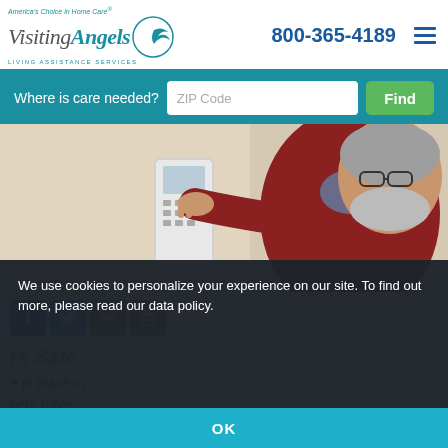Visiting Angels — America's Choice in Home Care — Living Assistance Services | 800-365-4189
[Figure (screenshot): Search bar with teal background: 'Where is care needed?' label, ZIP Code input field, and green Find button]
[Figure (photo): Older bearded man with glasses wearing a dark red sweater, pressing buttons on a white wall-mounted telephone/intercom device]
[Figure (screenshot): Social share icons: Facebook (blue), Twitter (light blue), Email (gray), Print (gray)]
[Figure (screenshot): Cookie consent overlay with dark background: 'We use cookies to personalize your experience on our site. To find out more, please read our data policy.' with OK button in teal bar]
rs Safe
e in place in bers have their loved